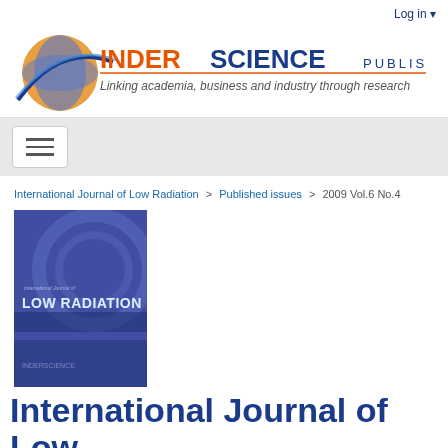Log in
[Figure (logo): Inderscience Publishers logo with globe icon and tagline: Linking academia, business and industry through research]
≡ (hamburger/navigation menu button)
International Journal of Low Radiation > Published issues > 2009 Vol.6 No.4
[Figure (photo): Journal cover of International Journal of Low Radiation, blue-toned cover with text LOW RADIATION]
International Journal of Low Radiation